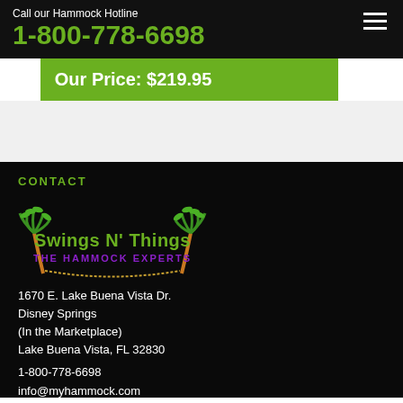Call our Hammock Hotline
1-800-778-6698
Our Price: $219.95
CONTACT
[Figure (logo): Swings N' Things The Hammock Experts logo with palm trees]
1670 E. Lake Buena Vista Dr.
Disney Springs
(In the Marketplace)
Lake Buena Vista, FL 32830
1-800-778-6698
info@myhammock.com